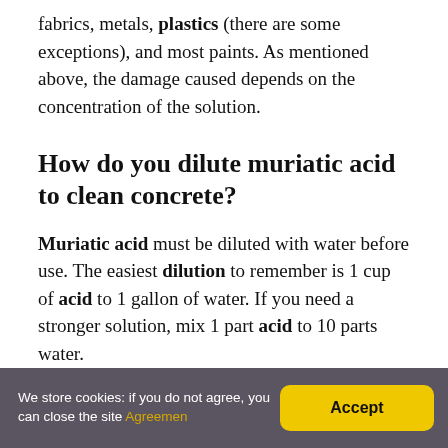fabrics, metals, plastics (there are some exceptions), and most paints. As mentioned above, the damage caused depends on the concentration of the solution.
How do you dilute muriatic acid to clean concrete?
Muriatic acid must be diluted with water before use. The easiest dilution to remember is 1 cup of acid to 1 gallon of water. If you need a stronger solution, mix 1 part acid to 10 parts water.
We store cookies: if you do not agree, you can close the site Agreemen  Accept